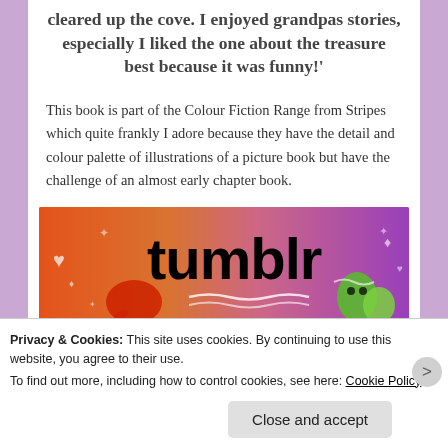cleared up the cove. I enjoyed grandpas stories, especially I liked the one about the treasure best because it was funny!'
This book is part of the Colour Fiction Range from Stripes which quite frankly I adore because they have the detail and colour palette of illustrations of a picture book but have the challenge of an almost early chapter book.
[Figure (screenshot): Tumblr banner/logo image with colorful gradient orange to purple background and black bold 'tumblr' text with sticker-style illustrations]
Privacy & Cookies: This site uses cookies. By continuing to use this website, you agree to their use.
To find out more, including how to control cookies, see here: Cookie Policy